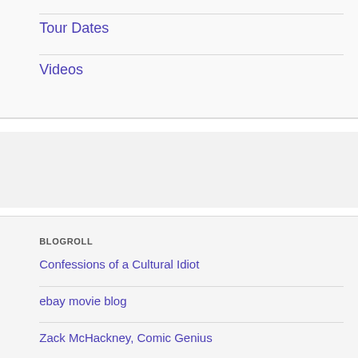Tour Dates
Videos
BLOGROLL
Confessions of a Cultural Idiot
ebay movie blog
Zack McHackney, Comic Genius